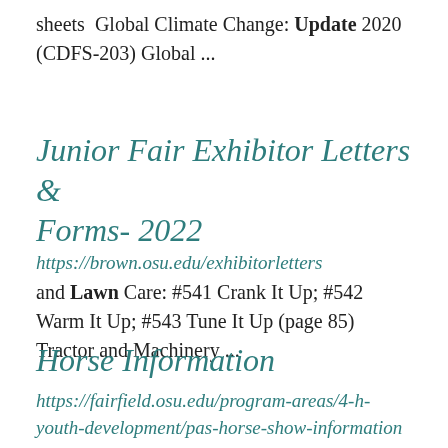sheets  Global Climate Change: Update 2020 (CDFS-203) Global ...
Junior Fair Exhibitor Letters & Forms- 2022
https://brown.osu.edu/exhibitorletters
and Lawn Care: #541 Crank It Up; #542 Warm It Up; #543 Tune It Up (page 85) Tractor and Machinery ...
Horse Information
https://fairfield.osu.edu/program-areas/4-h-youth-development/pas-horse-show-information
Rd, Lancaster, 43130) Indoor arena 2022 RAC...